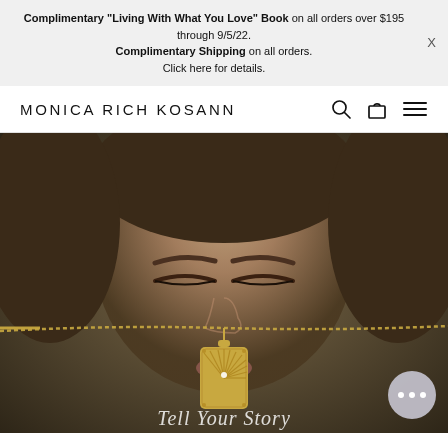Complimentary "Living With What You Love" Book on all orders over $195 through 9/5/22. Complimentary Shipping on all orders. Click here for details.
MONICA RICH KOSANN
[Figure (photo): Close-up photo of a woman with closed eyes holding a gold chain necklace with a rectangular gold pendant featuring a sunburst/half-moon design with a diamond. The image is blurred in the background with the pendant in focus.]
Tell Your Story